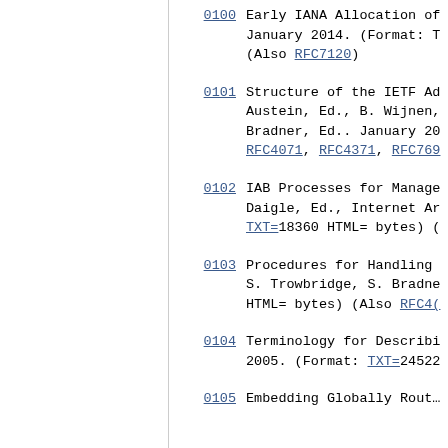0100 Early IANA Allocation of... January 2014. (Format: T... (Also RFC7120)
0101 Structure of the IETF Ad... Austein, Ed., B. Wijnen,... Bradner, Ed.. January 20... RFC4071, RFC4371, RFC769...
0102 IAB Processes for Manage... Daigle, Ed., Internet Ar... TXT=18360 HTML= bytes) (...
0103 Procedures for Handling... S. Trowbridge, S. Bradne... HTML= bytes) (Also RFC4(...
0104 Terminology for Describi... 2005. (Format: TXT=24522...
0105 Embedding Globally Rout...